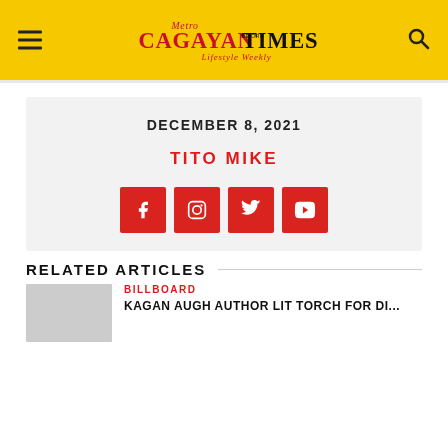Metro Cagayan Times – Lifestyle Weekly
DECEMBER 8, 2021
TITO MIKE
[Figure (infographic): Social media icons: Facebook, Instagram, Twitter, YouTube – red square buttons with white icons]
RELATED ARTICLES
BILLBOARD
KAGAN AUGH AUTHOR LIT TORCH FOR DI...